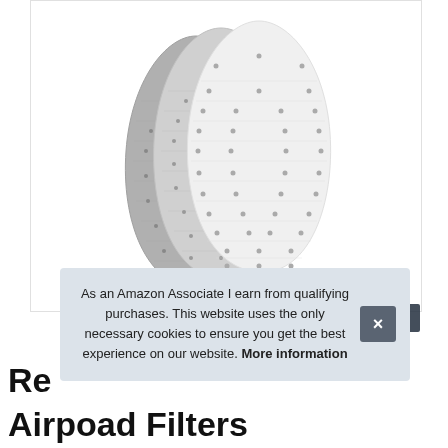[Figure (photo): Three teardrop-shaped filter pads (Airpod filters) arranged in a fanned layout, in shades of white and gray, with a textured surface and small dots/perforations.]
As an Amazon Associate I earn from qualifying purchases. This website uses the only necessary cookies to ensure you get the best experience on our website. More information
Re
Airpoad Filters